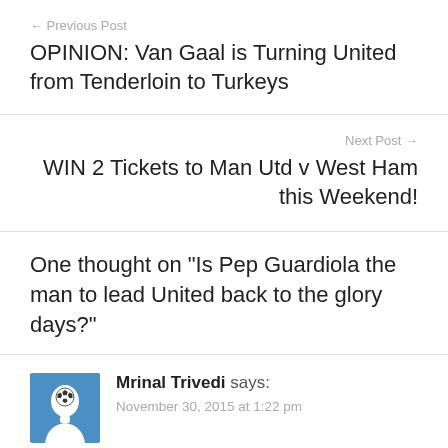← Previous Post
OPINION: Van Gaal is Turning United from Tenderloin to Turkeys
Next Post →
WIN 2 Tickets to Man Utd v West Ham this Weekend!
One thought on "Is Pep Guardiola the man to lead United back to the glory days?"
Mrinal Trivedi says:
November 30, 2015 at 1:22 pm
Well-written article. There's this misconception among